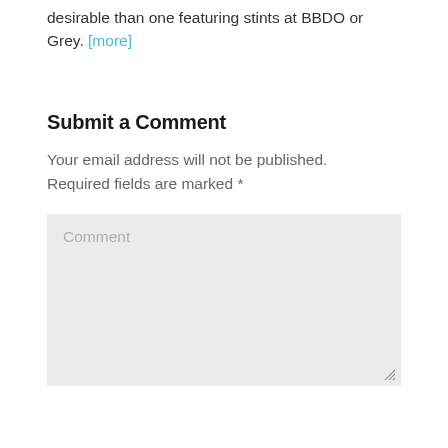desirable than one featuring stints at BBDO or Grey. [more]
Submit a Comment
Your email address will not be published. Required fields are marked *
Comment